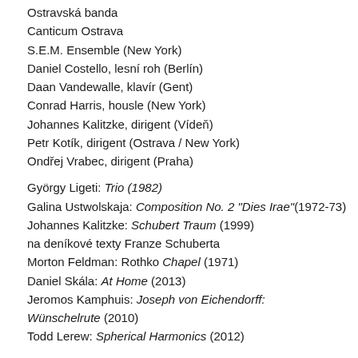Ostravská banda
Canticum Ostrava
S.E.M. Ensemble (New York)
Daniel Costello, lesní roh (Berlín)
Daan Vandewalle, klavír (Gent)
Conrad Harris, housle (New York)
Johannes Kalitzke, dirigent (Vídeň)
Petr Kotík, dirigent (Ostrava / New York)
Ondřej Vrabec, dirigent (Praha)
György Ligeti: Trio (1982)
Galina Ustwolskaja: Composition No. 2 "Dies Irae"(1972-73)
Johannes Kalitzke: Schubert Traum (1999)
na deníkové texty Franze Schuberta
Morton Feldman: Rothko Chapel (1971)
Daniel Skála: At Home (2013)
Jeromos Kamphuis: Joseph von Eichendorff: Wünschelrute (2010)
Todd Lerew: Spherical Harmonics (2012)